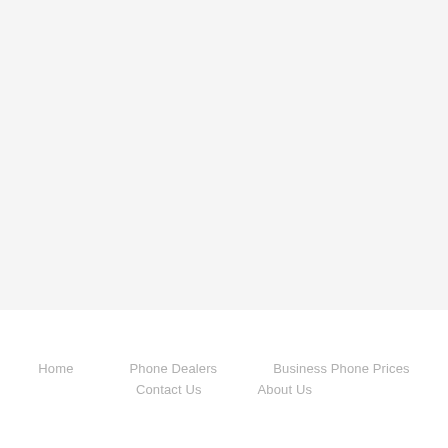Home  Phone Dealers  Business Phone Prices  Contact Us  About Us